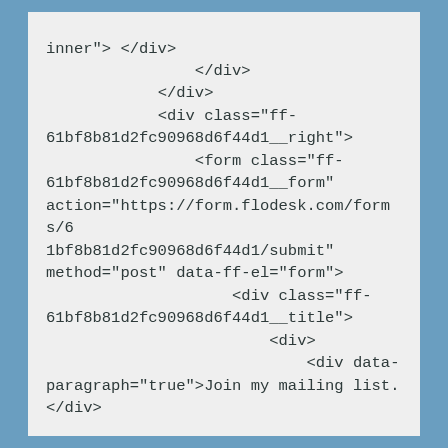inner"> </div>
                </div>
            </div>
            <div class="ff-61bf8b81d2fc90968d6f44d1__right">
                <form class="ff-61bf8b81d2fc90968d6f44d1__form" action="https://form.flodesk.com/forms/61bf8b81d2fc90968d6f44d1/submit" method="post" data-ff-el="form">
                    <div class="ff-61bf8b81d2fc90968d6f44d1__title">
                        <div>
                            <div data-paragraph="true">Join my mailing list.</div>